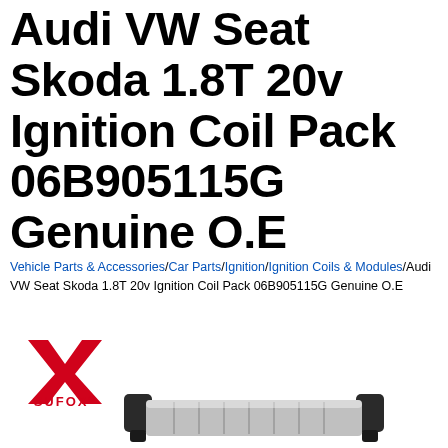Audi VW Seat Skoda 1.8T 20v Ignition Coil Pack 06B905115G Genuine O.E
Vehicle Parts & Accessories/Car Parts/Ignition/Ignition Coils & Modules/Audi VW Seat Skoda 1.8T 20v Ignition Coil Pack 06B905115G Genuine O.E
[Figure (logo): SUFOX brand logo with red X symbol and SUFOX text in red]
[Figure (photo): Audi VW ignition coil pack product photo showing a silver and black coil pack component with multiple black connectors]